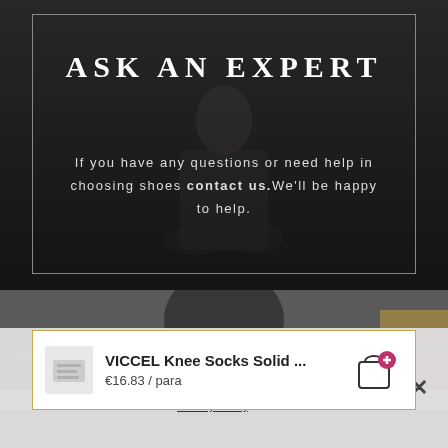[Figure (photo): Dark background with a man sitting in a suit, semi-transparent overlay with a rectangular border]
ASK AN EXPERT
If you have any questions or need help in choosing shoes contact us.We'll be happy to help.
[Figure (photo): Blurred background image showing a dark circular object on papers]
[Figure (other): Product card showing VICCEL Knee Socks Solid ... at €16.83 / para with shopping bag icon]
VICCEL Knee Socks Solid ...
€16.83 / para
This site uses cookies. By continuing to browse this site you are agreeing to use of cookies. More information can be found in the Privacy Policy.